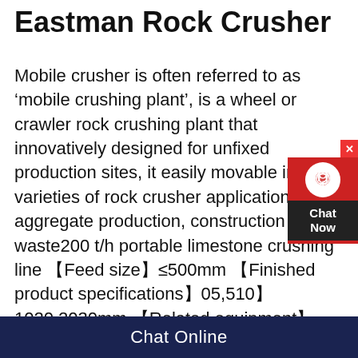Eastman Rock Crusher
Mobile crusher is often referred to as ‘mobile crushing plant’, is a wheel or crawler rock crushing plant that innovatively designed for unfixed production sites, it easily movable in a varieties of rock crusher applications like aggregate production, construction waste200 t/h portable limestone crushing line 【Feed size】≤500mm 【Finished product specifications】05,510】 1020,2030mm 【Related equipment】mobile jaw crusher, mobile impact crusher, external belt conveyor, car belt conveyor, ironLimestone Crushing Plant Layout and Price JXSC MachineHammer Mills Williams manufactures a large variety of hammer mills and hammer crushers wellsuited to handle limestone crushing applications As the manufacturer holding the very
[Figure (other): Chat Now widget with red background, headset icon in white circle, and dark Chat Now label]
Chat Online